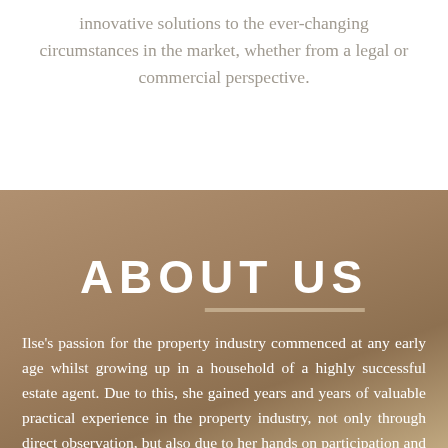innovative solutions to the ever-changing circumstances in the market, whether from a legal or commercial perspective.
ABOUT US
Ilse's passion for the property industry commenced at any early age whilst growing up in a household of a highly successful estate agent. Due to this, she gained years and years of valuable practical experience in the property industry, not only through direct observation, but also due to her hands on participation and assistance in her parent's career.